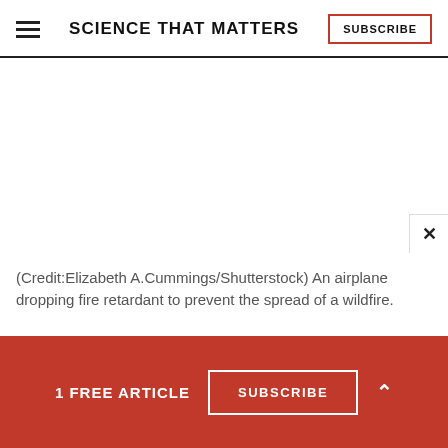SCIENCE THAT MATTERS
[Figure (photo): Blank/white image area where a photo of an airplane dropping fire retardant would appear, with a close (X) button in the bottom right corner.]
(Credit:Elizabeth A.Cummings/Shutterstock) An airplane dropping fire retardant to prevent the spread of a wildfire.
1 FREE ARTICLE   SUBSCRIBE